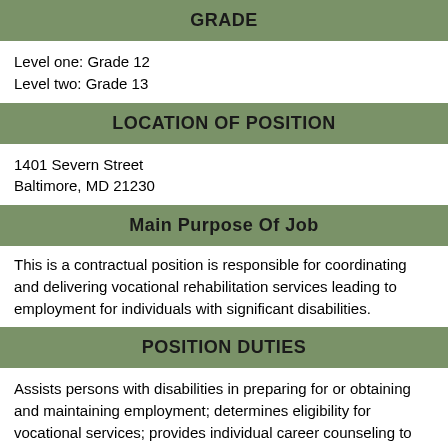GRADE
Level one: Grade 12
Level two: Grade 13
LOCATION OF POSITION
1401 Severn Street
Baltimore, MD 21230
Main Purpose Of Job
This is a contractual position is responsible for coordinating and delivering vocational rehabilitation services leading to employment for individuals with significant disabilities.
POSITION DUTIES
Assists persons with disabilities in preparing for or obtaining and maintaining employment; determines eligibility for vocational services; provides individual career counseling to people with disabilities;